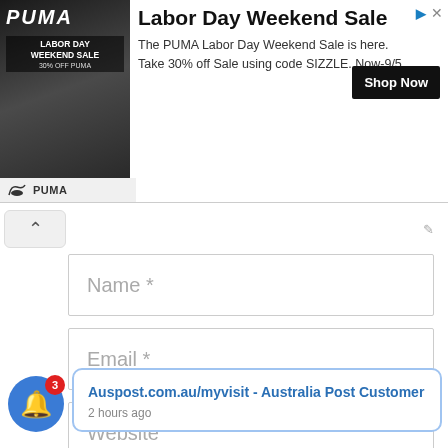[Figure (screenshot): PUMA Labor Day Weekend Sale advertisement banner with image on left, title, description, and Shop Now button]
Name *
Email *
Website
Save my name, email, and website in this browser for the next time I comment.
POST COMMENT
Auspost.com.au/myvisit - Australia Post Customer
2 hours ago